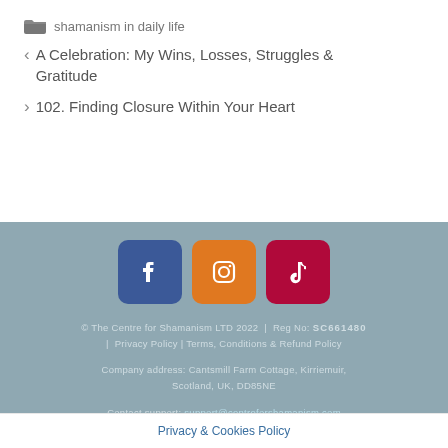shamanism in daily life
< A Celebration: My Wins, Losses, Struggles & Gratitude
> 102. Finding Closure Within Your Heart
[Figure (other): Social media icons: Facebook (blue), Instagram (orange), TikTok (dark red)]
© The Centre for Shamanism LTD 2022 | Reg No: SC661480 | Privacy Policy | Terms, Conditions & Refund Policy
Company address: Cantsmill Farm Cottage, Kirriemuir, Scotland, UK, DD85NE
Contact support: support@centreforshamanism.com
Privacy & Cookies Policy